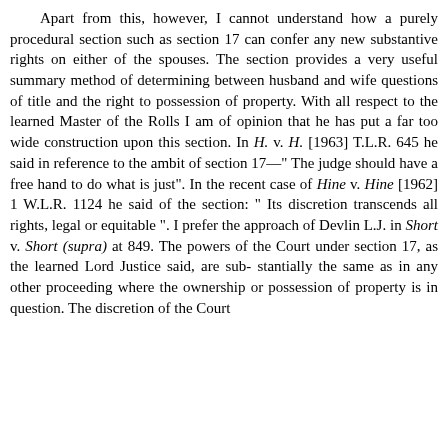Apart from this, however, I cannot understand how a purely procedural section such as section 17 can confer any new substantive rights on either of the spouses. The section provides a very useful summary method of determining between husband and wife questions of title and the right to possession of property. With all respect to the learned Master of the Rolls I am of opinion that he has put a far too wide construction upon this section. In H. v. H. [1963] T.L.R. 645 he said in reference to the ambit of section 17—" The judge should have a free hand to do what is just". In the recent case of Hine v. Hine [1962] 1 W.L.R. 1124 he said of the section: " Its discretion transcends all rights, legal or equitable ". I prefer the approach of Devlin L.J. in Short v. Short (supra) at 849. The powers of the Court under section 17, as the learned Lord Justice said, are sub-stantially the same as in any other proceeding where the ownership or possession of property is in question. The discretion of the Court